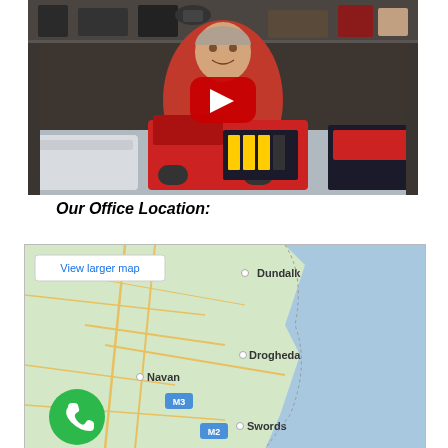[Figure (screenshot): YouTube video thumbnail showing a man in a red shirt surrounded by LEGO Technic models including a red truck/vehicle, with shelves of LEGO sets in the background. A red YouTube play button is centered on the image.]
Our Office Location:
[Figure (map): Google Maps embed showing eastern Ireland including cities Dundalk, Drogheda, Navan, and Swords, with road markings M3 and M2. A 'View larger map' button appears in the top-left corner. A green phone/call button overlays the bottom-left.]